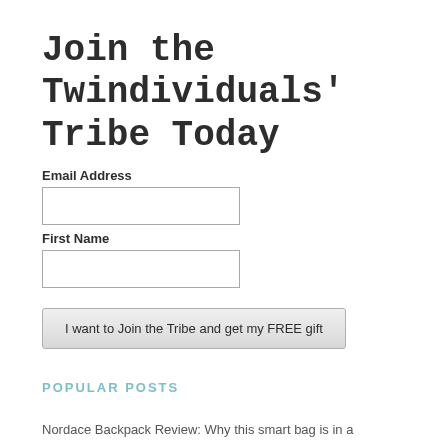Join the Twindividuals' Tribe Today
Email Address
First Name
I want to Join the Tribe and get my FREE gift
POPULAR POSTS
Nordace Backpack Review: Why this smart bag is in a